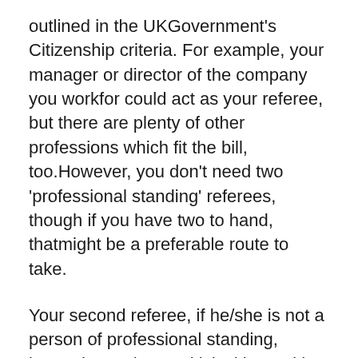outlined in the UKGovernment's Citizenship criteria. For example, your manager or director of the company you workfor could act as your referee, but there are plenty of other professions which fit the bill, too.However, you don't need two 'professional standing' referees, though if you have two to hand, thatmight be a preferable route to take.
Your second referee, if he/she is not a person of professional standing, instead must be a BritishCitizen with a UK passport and be over the age of 25 years old. Both referees are required to sign a declaration to endorse your application and verify your identity.